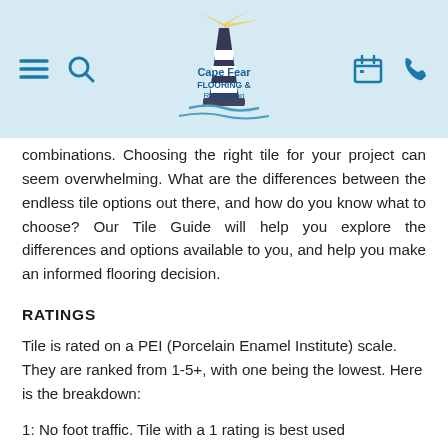Cape Fear Flooring & Restoration — navigation header with logo, hamburger menu, search, calendar, and phone icons
combinations. Choosing the right tile for your project can seem overwhelming. What are the differences between the endless tile options out there, and how do you know what to choose? Our Tile Guide will help you explore the differences and options available to you, and help you make an informed flooring decision.
RATINGS
Tile is rated on a PEI (Porcelain Enamel Institute) scale. They are ranked from 1-5+, with one being the lowest. Here is the breakdown:
1: No foot traffic. Tile with a 1 rating is best used